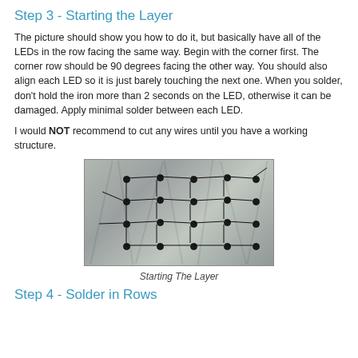Step 3 - Starting the Layer
The picture should show you how to do it, but basically have all of the LEDs in the row facing the same way. Begin with the corner first. The corner row should be 90 degrees facing the other way. You should also align each LED so it is just barely touching the next one. When you solder, don't hold the iron more than 2 seconds on the LED, otherwise it can be damaged. Apply minimal solder between each LED.
I would NOT recommend to cut any wires until you have a working structure.
[Figure (photo): Photo of LEDs soldered onto a reflective foil surface in a grid pattern, showing the beginning of a layer with wires connecting them.]
Starting The Layer
Step 4 - Solder in Rows